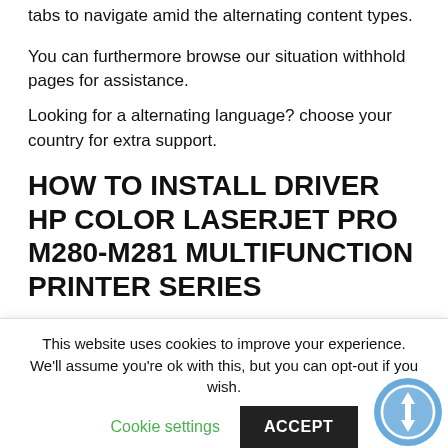tabs to navigate amid the alternating content types.
You can furthermore browse our situation withhold pages for assistance.
Looking for a alternating language? choose your country for extra support.
HOW TO INSTALL DRIVER HP COLOR LASERJET PRO M280-M281 MULTIFUNCTION PRINTER SERIES
1. Select Download and install to save the documents to your computer.
This website uses cookies to improve your experience. We'll assume you're ok with this, but you can opt-out if you wish. Cookie settings ACCEPT